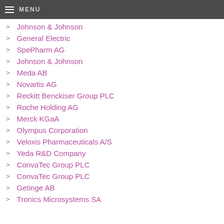MENU
Johnson & Johnson
General Electric
SpePharm AG
Johnson & Johnson
Meda AB
Novartis AG
Reckitt Benckiser Group PLC
Roche Holding AG
Merck KGaA
Olympus Corporation
Veloxis Pharmaceuticals A/S
Yeda R&D Company
ConvaTec Group PLC
ConvaTec Group PLC
Getinge AB
Tronics Microsystems SA